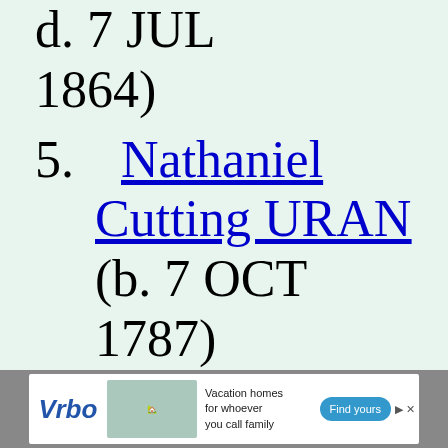d. 7 JUL 1864)
5. Nathaniel Cutting URAN (b. 7 OCT 1787)
6. +Susan URAN (b.